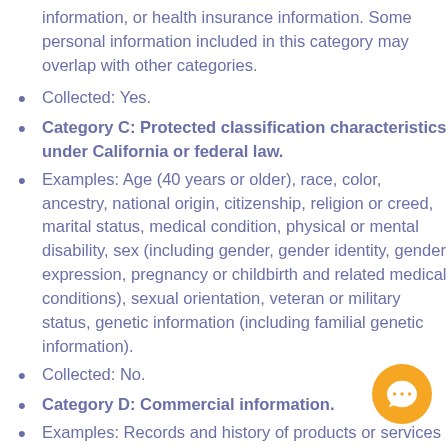information, or health insurance information. Some personal information included in this category may overlap with other categories.
Collected: Yes.
Category C: Protected classification characteristics under California or federal law.
Examples: Age (40 years or older), race, color, ancestry, national origin, citizenship, religion or creed, marital status, medical condition, physical or mental disability, sex (including gender, gender identity, gender expression, pregnancy or childbirth and related medical conditions), sexual orientation, veteran or military status, genetic information (including familial genetic information).
Collected: No.
Category D: Commercial information.
Examples: Records and history of products or services